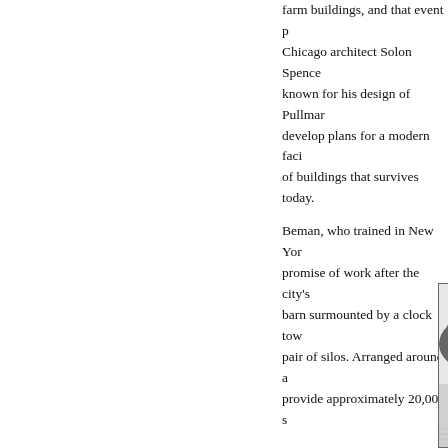farm buildings, and that event prompted Chicago architect Solon Spencer Beman, known for his design of Pullman, to develop plans for a modern facility, a set of buildings that survives today.
Beman, who trained in New York, came promise of work after the city's great barn surmounted by a clock tower and a pair of silos. Arranged around a provide approximately 20,000 s
[Figure (illustration): Black and white architectural illustration showing farm buildings with a clock tower, silos, and surrounding landscape with circular road or track in foreground.]